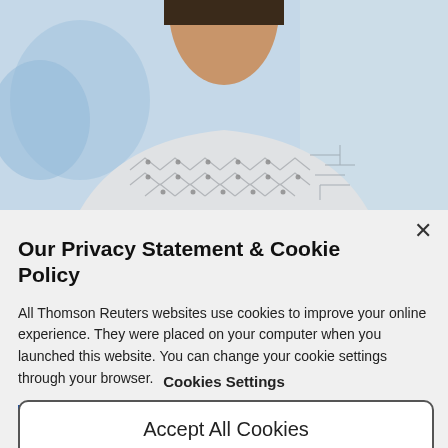[Figure (photo): Photo of a person wearing a patterned sweater with circuit-board-like design, light blue background, shown from roughly shoulder up with head cropped at top.]
Our Privacy Statement & Cookie Policy
All Thomson Reuters websites use cookies to improve your online experience. They were placed on your computer when you launched this website. You can change your cookie settings through your browser.
Privacy Statement   Cookie Policy
Cookies Settings
Accept All Cookies